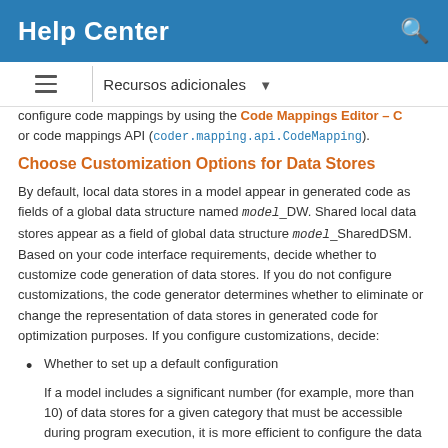Help Center
Recursos adicionales
configure code mappings by using the Code Mappings Editor – C or code mappings API (coder.mapping.api.CodeMapping).
Choose Customization Options for Data Stores
By default, local data stores in a model appear in generated code as fields of a global data structure named model_DW. Shared local data stores appear as a field of global data structure model_SharedDSM. Based on your code interface requirements, decide whether to customize code generation of data stores. If you do not configure customizations, the code generator determines whether to eliminate or change the representation of data stores in generated code for optimization purposes. If you configure customizations, decide:
Whether to set up a default configuration
If a model includes a significant number (for example, more than 10) of data stores for a given category that must be accessible during program execution, it is more efficient to configure the data stores with a default setting, and then override that setting for special cases. If the model includes a